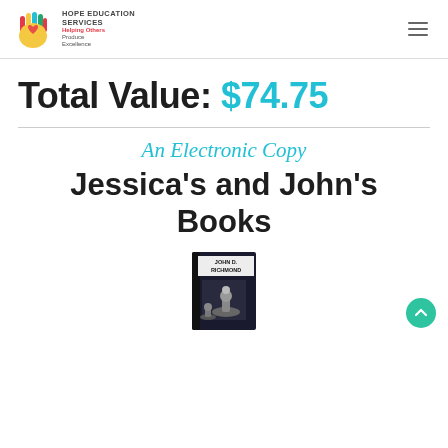[Figure (logo): Hope Education Services logo with colorful hand icon and text 'HOPE EDUCATION SERVICES – Helping Others Produce Excellence']
Total Value: $74.75
An Electronic Copy
Jessica's and John's Books
[Figure (photo): Book cover showing 'JOHN D. RICHMOND' with a chess piece image on a dark background]